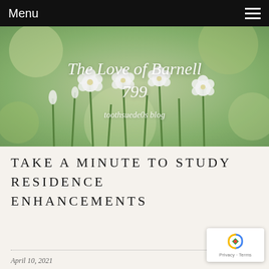Menu
[Figure (photo): Hero banner with blurred white flowers and green foliage background, containing script text 'The Love of Barnell 799' and subtitle 'toothsuede0s blog']
TAKE A MINUTE TO STUDY RESIDENCE ENHANCEMENTS
April 10, 2021